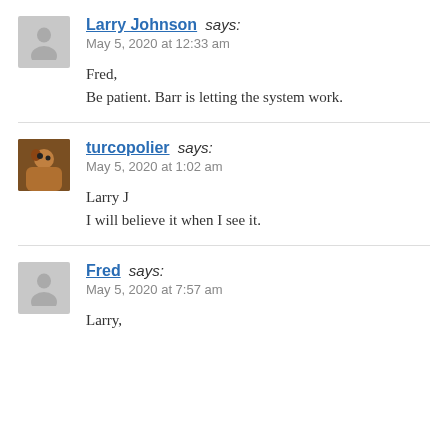Larry Johnson says:
May 5, 2020 at 12:33 am

Fred,
Be patient. Barr is letting the system work.
turcopolier says:
May 5, 2020 at 1:02 am

Larry J
I will believe it when I see it.
Fred says:
May 5, 2020 at 7:57 am

Larry,